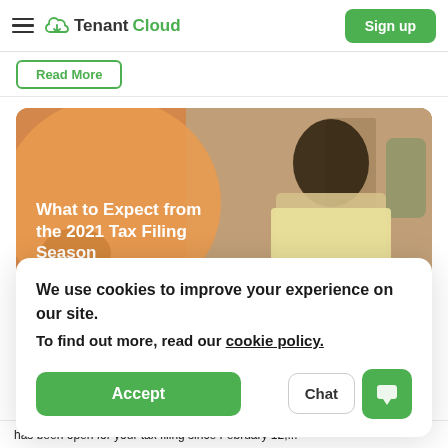TenantCloud — Sign up
Read More
[Figure (photo): Article card with orange background and photo of a man in a yellow shirt looking down, with text overlay 'What to Expect from the 2021 Tax Filing Season']
What to Expect from the 2021 Tax Filing Season
We use cookies to improve your experience on our site. To find out more, read our cookie policy.
Accept
Chat
has been open for your tax filing since February 12,...